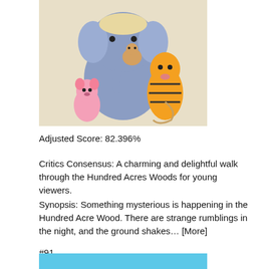[Figure (illustration): Animated illustration of Winnie the Pooh characters including an elephant, Tigger, Piglet, and others from the Hundred Acre Wood]
Adjusted Score: 82.396%
Critics Consensus: A charming and delightful walk through the Hundred Acres Woods for young viewers.
Synopsis: Something mysterious is happening in the Hundred Acre Wood. There are strange rumblings in the night, and the ground shakes… [More]
#91
[Figure (illustration): Disney Pixar Monsters Inc movie poster with light blue background showing the word MONSTERS]